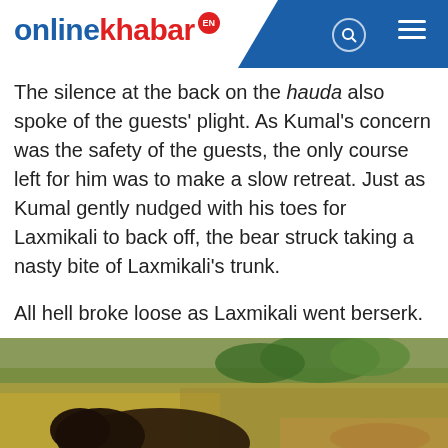[Figure (logo): onlinekhabar EN logo with blue navigation bar containing search icon and hamburger menu]
The silence at the back on the hauda also spoke of the guests' plight. As Kumal's concern was the safety of the guests, the only course left for him was to make a slow retreat. Just as Kumal gently nudged with his toes for Laxmikali to back off, the bear struck taking a nasty bite of Laxmikali's trunk.
All hell broke loose as Laxmikali went berserk.
[Figure (photo): Photograph of what appears to be a bear or large animal in a grassy/natural outdoor setting, cropped at the bottom of the page]